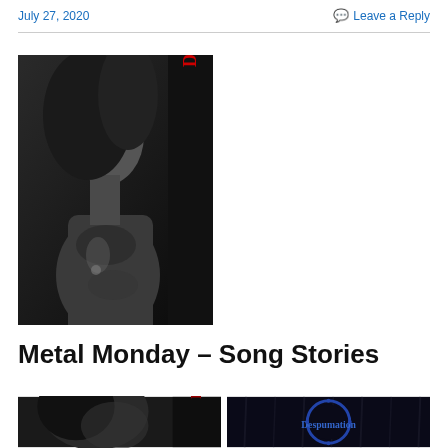July 27, 2020
Leave a Reply
[Figure (photo): Black and white photo of a person with long hair, torso visible, with red vertical gothic text 'Despumation' on the right side of the image]
Metal Monday – Song Stories
[Figure (photo): Partial bottom-left photo showing black and white image similar to main photo]
[Figure (photo): Partial bottom-right photo showing dark background with blue circular gothic-style text reading 'Despumation']